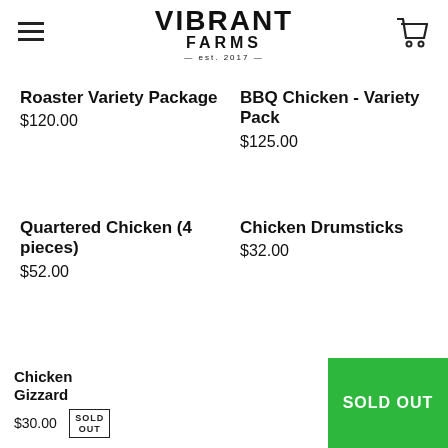VIBRANT FARMS — est. 2017
Roaster Variety Package
$120.00
BBQ Chicken - Variety Pack
$125.00
Quartered Chicken (4 pieces)
$52.00
Chicken Drumsticks
$32.00
About
Chicken Gizzard
$30.00 SOLD OUT